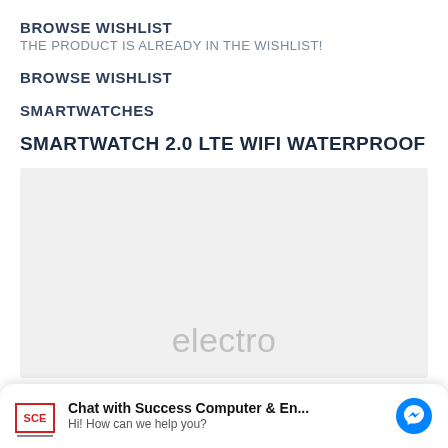BROWSE WISHLIST
THE PRODUCT IS ALREADY IN THE WISHLIST!
BROWSE WISHLIST
SMARTWATCHES
SMARTWATCH 2.0 LTE WIFI WATERPROOF
[Figure (other): Product image placeholder with light grey background and 'electro' watermark text]
Chat with Success Computer & En...
Hi! How can we help you?